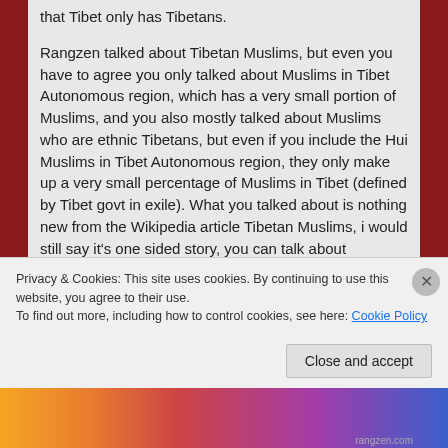that Tibet only has Tibetans.

Rangzen talked about Tibetan Muslims, but even you have to agree you only talked about Muslims in Tibet Autonomous region, which has a very small portion of Muslims, and you also mostly talked about Muslims who are ethnic Tibetans, but even if you include the Hui Muslims in Tibet Autonomous region, they only make up a very small percentage of Muslims in Tibet (defined by Tibet govt in exile). What you talked about is nothing new from the Wikipedia article Tibetan Muslims, i would still say it's one sided story, you can talk about "Muslims having free life in a Buddhist environment" as much as you want, that does not change the fact the Mosque in Lhasa was burned down by Tibetans and
Privacy & Cookies: This site uses cookies. By continuing to use this website, you agree to their use.
To find out more, including how to control cookies, see here: Cookie Policy